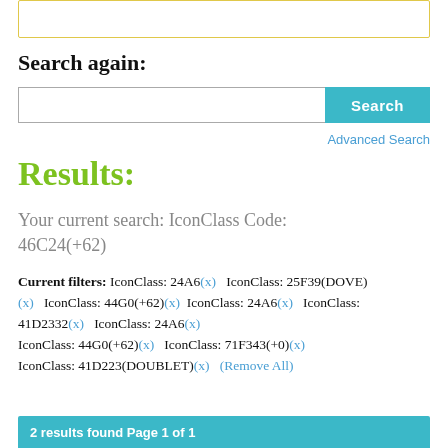[Figure (screenshot): Top portion of a search input box with yellow border, partially visible]
Search again:
[Figure (screenshot): Search bar with text input field and teal Search button]
Advanced Search
Results:
Your current search: IconClass Code:
46C24(+62)
Current filters: IconClass: 24A6(x)   IconClass: 25F39(DOVE)(x)   IconClass: 44G0(+62)(x)   IconClass: 24A6(x)   IconClass: 41D2332(x)   IconClass: 24A6(x)   IconClass: 44G0(+62)(x)   IconClass: 71F343(+0)(x)   IconClass: 41D223(DOUBLET)(x)   (Remove All)
2 results found Page 1 of 1